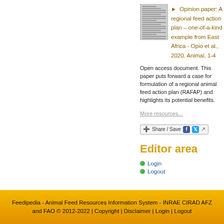[Figure (illustration): Thumbnail image of a document page with horizontal text lines, representing the article.]
Opinion paper: A regional feed action plan – one-of-a-kind example from East Africa - Opio et al., 2020. Animal, 1-4
Open access document. This paper puts forward a case for formulation of a regional animal feed action plan (RAFAP) and highlights its potential benefits.
More resources...
[Figure (other): Share / Save social sharing buttons bar with Facebook, Twitter, and upload icons.]
Editor area
Login
Logout
Feedipedia - Animal Feed Resources Information System - INRAE CIRAD AFZ and FAO © 2012-2022 | Copyright | Disclaimer | Login | Logout